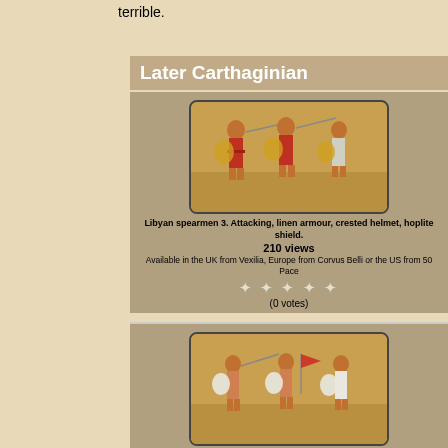terrible.
Later Carthaginian
[Figure (photo): Miniature soldiers - Libyan spearmen attacking with linen armour, crested helmet, hoplite shield]
Libyan spearmen 3. Attacking, linen armour, crested helmet, hoplite shield.
210 views
Available in the UK from Vexilia, Europe from Corvus Belli or the US from 50 Paces
(0 votes)
[Figure (photo): Miniature soldiers - Phoenician spearmen attacking with tunic, conic helmet Asirian, oval shield]
Phoenician spearmen 2. Attacking, tunic, conic helmet (Asirian), oval shield.
168 views
Available in the UK from Vexilia, Europe from Corvus Belli or the US from 50 Paces
(0 votes)
[Figure (photo): Miniature soldiers - Carthaginian range from Corvus Belli Cavalry command group]
Carthaginian range from Corvus Belli Cavalry command group.